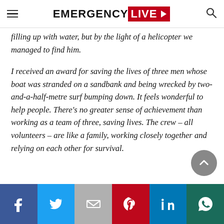EMERGENCY LIVE
filling up with water, but by the light of a helicopter we managed to find him.
I received an award for saving the lives of three men whose boat was stranded on a sandbank and being wrecked by two-and-a-half-metre surf bumping down. It feels wonderful to help people. There’s no greater sense of achievement than working as a team of three, saving lives. The crew – all volunteers – are like a family, working closely together and relying on each other for survival.
[Figure (other): Social media share bar with Facebook, Twitter, Gmail/Email, Pinterest, LinkedIn, WhatsApp buttons]